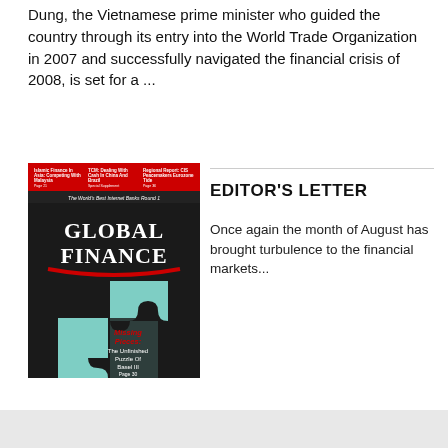Dung, the Vietnamese prime minister who guided the country through its entry into the World Trade Organization in 2007 and successfully navigated the financial crisis of 2008, is set for a ...
[Figure (illustration): Cover of Global Finance magazine featuring a puzzle piece illustration in black and teal/green colors, with text 'Missing Pieces: The Unfinished Puzzle Of Basel III' and header text about Islamic Finance in Asia, TCM, and Regional Report.]
EDITOR'S LETTER
Once again the month of August has brought turbulence to the financial markets...